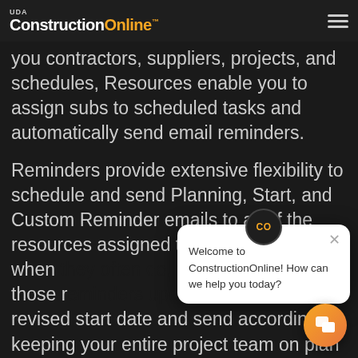UDA ConstructionOnline™
you contractors, suppliers, projects, and schedules, Resources enable you to assign subs to scheduled tasks and automatically send email reminders.
Reminders provide extensive flexibility to schedule and send Planning, Start, and Custom Reminder emails to all of the resources assigned to a schedule. And when they often do, those reminders update to the new revised start date and send accordingly, keeping your entire project team on plan and on task.
[Figure (screenshot): Chat widget popup with 'CO' icon and text: Welcome to ConstructionOnline! How can we help you today? with close button. An orange chat launcher button is visible at bottom right.]